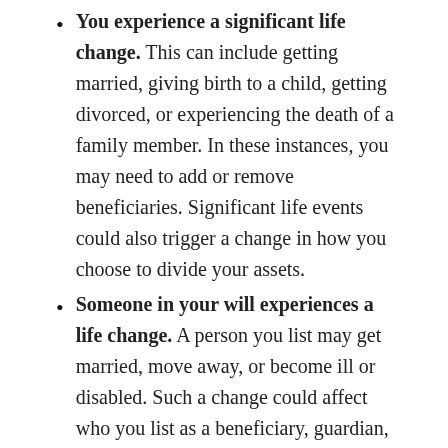You experience a significant life change. This can include getting married, giving birth to a child, getting divorced, or experiencing the death of a family member. In these instances, you may need to add or remove beneficiaries. Significant life events could also trigger a change in how you choose to divide your assets.
Someone in your will experiences a life change. A person you list may get married, move away, or become ill or disabled. Such a change could affect who you list as a beneficiary, guardian, or executor.
Tax laws are revised. Provisions in your will may be set up to lower the effect of estate taxes on your heirs. If certain tax laws change in your state, it may be worth adjusting your document accordingly.
A few years have passed since your initial draft. If it's been three to five years since you first wrote your